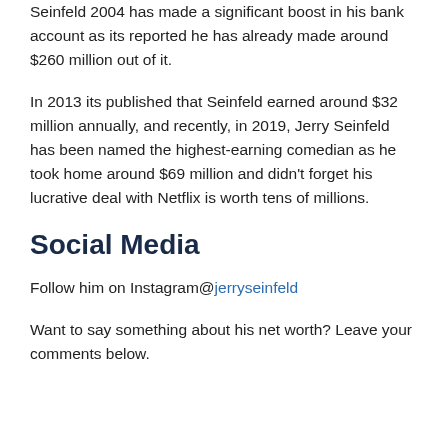Seinfeld 2004 has made a significant boost in his bank account as its reported he has already made around $260 million out of it.
In 2013 its published that Seinfeld earned around $32 million annually, and recently, in 2019, Jerry Seinfeld has been named the highest-earning comedian as he took home around $69 million and didn't forget his lucrative deal with Netflix is worth tens of millions.
Social Media
Follow him on Instagram@jerryseinfeld
Want to say something about his net worth? Leave your comments below.